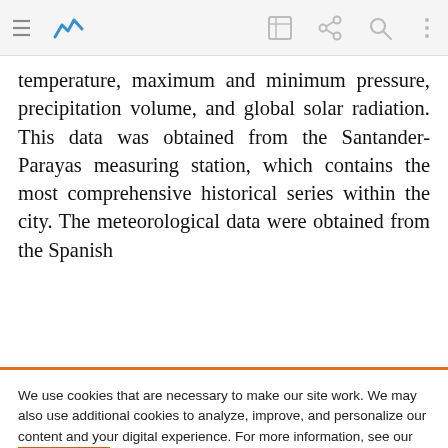[Figure (screenshot): Browser toolbar with hamburger menu, blue graph icon, edit icon, share icon, search icon, and vertical dots menu icon on a light grey background.]
temperature, maximum and minimum pressure, precipitation volume, and global solar radiation. This data was obtained from the Santander-Parayas measuring station, which contains the most comprehensive historical series within the city. The meteorological data were obtained from the Spanish
We use cookies that are necessary to make our site work. We may also use additional cookies to analyze, improve, and personalize our content and your digital experience. For more information, see our Cookie Policy
Cookie settings
Accept all cookies